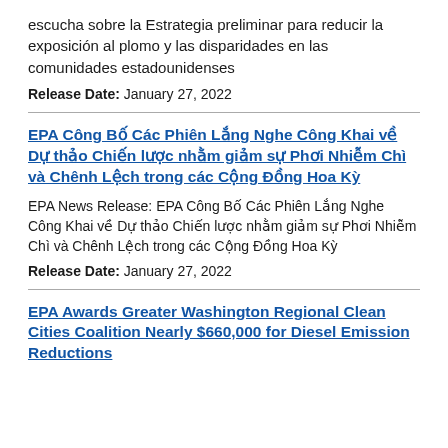escucha sobre la Estrategia preliminar para reducir la exposición al plomo y las disparidades en las comunidades estadounidenses
Release Date: January 27, 2022
EPA Công Bố Các Phiên Lắng Nghe Công Khai về Dự thảo Chiến lược nhằm giảm sự Phơi Nhiễm Chì và Chênh Lệch trong các Cộng Đồng Hoa Kỳ
EPA News Release: EPA Công Bố Các Phiên Lắng Nghe Công Khai về Dự thảo Chiến lược nhằm giảm sự Phơi Nhiễm Chì và Chênh Lệch trong các Cộng Đồng Hoa Kỳ
Release Date: January 27, 2022
EPA Awards Greater Washington Regional Clean Cities Coalition Nearly $660,000 for Diesel Emission Reductions